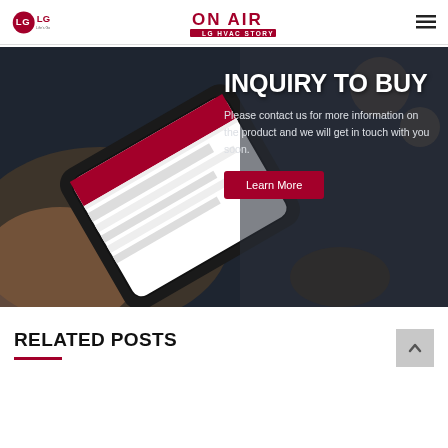LG | ON AIR LG HVAC STORY
[Figure (photo): Banner image showing a hand holding a smartphone displaying LG HVAC content, with text overlay 'INQUIRY TO BUY' and description 'Please contact us for more information on the product and we will get in touch with you soon.' with a Learn More button.]
RELATED POSTS